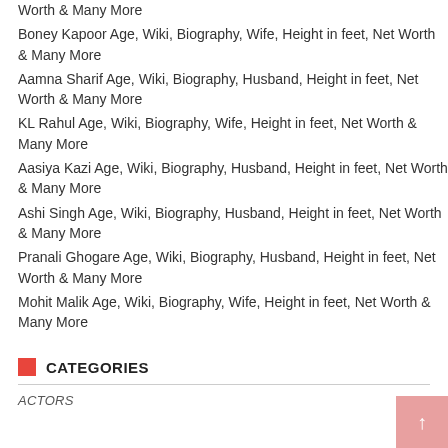Worth & Many More
Boney Kapoor Age, Wiki, Biography, Wife, Height in feet, Net Worth & Many More
Aamna Sharif Age, Wiki, Biography, Husband, Height in feet, Net Worth & Many More
KL Rahul Age, Wiki, Biography, Wife, Height in feet, Net Worth & Many More
Aasiya Kazi Age, Wiki, Biography, Husband, Height in feet, Net Worth & Many More
Ashi Singh Age, Wiki, Biography, Husband, Height in feet, Net Worth & Many More
Pranali Ghogare Age, Wiki, Biography, Husband, Height in feet, Net Worth & Many More
Mohit Malik Age, Wiki, Biography, Wife, Height in feet, Net Worth & Many More
CATEGORIES
ACTORS